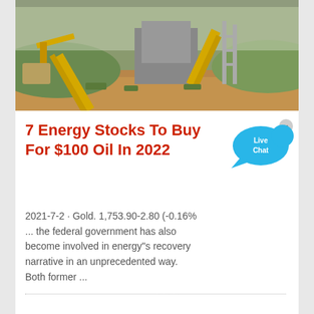[Figure (photo): Industrial mining or quarry facility with yellow conveyor belts and structures, dirt ground and green hills in background]
7 Energy Stocks To Buy For $100 Oil In 2022
[Figure (other): Live Chat speech bubble widget in cyan/blue color with a close X button]
2021-7-2 · Gold. 1,753.90-2.80 (-0.16% ... the federal government has also become involved in energy"s recovery narrative in an unprecedented way. Both former ...